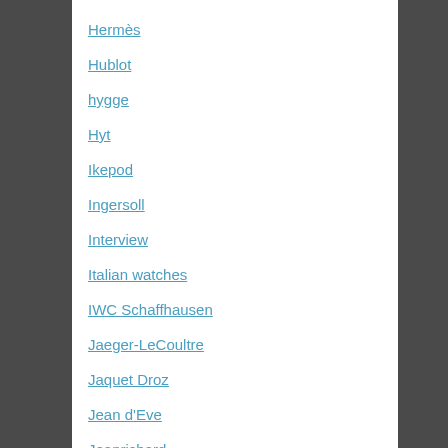Hermès
Hublot
hygge
Hyt
Ikepod
Ingersoll
Interview
Italian watches
IWC Schaffhausen
Jaeger-LeCoultre
Jaquet Droz
Jean d'Eve
Jeanrichard
Junghans
Kari Voutilainen
Kienzle